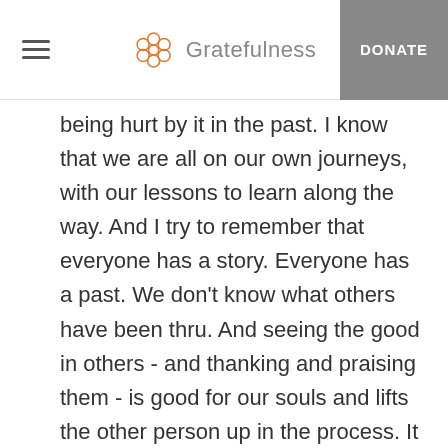Gratefulness | DONATE
being hurt by it in the past. I know that we are all on our own journeys, with our lessons to learn along the way. And I try to remember that everyone has a story. Everyone has a past. We don't know what others have been thru. And seeing the good in others - and thanking and praising them - is good for our souls and lifts the other person up in the process. It is always good to lift other...